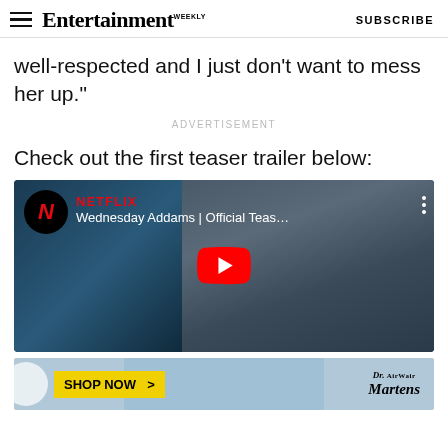Entertainment Weekly — SUBSCRIBE
well-respected and I just don't want to mess her up."
ADVERTISEMENT
Check out the first teaser trailer below:
[Figure (screenshot): YouTube video embed showing Wednesday Addams Official Teaser trailer on Netflix channel, with red YouTube play button overlay on a dark blue background with a face visible on the right side]
[Figure (photo): Dr. Martens advertisement banner with yellow SHOP NOW button and Dr. AirWair Martens logo on blue/teal background]